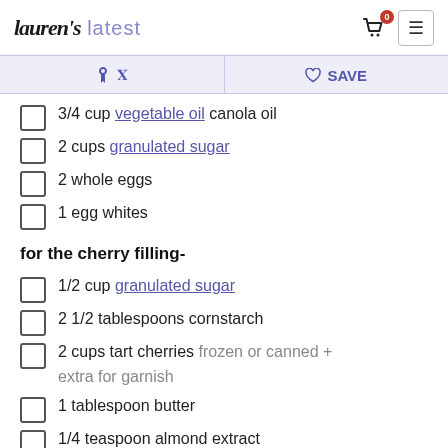lauren's latest — header with cart and menu
Pinterest | SAVE action bar
3/4 cup vegetable oil canola oil
2 cups granulated sugar
2 whole eggs
1 egg whites
for the cherry filling-
1/2 cup granulated sugar
2 1/2 tablespoons cornstarch
2 cups tart cherries frozen or canned + extra for garnish
1 tablespoon butter
1/4 teaspoon almond extract
for the whipped cream-